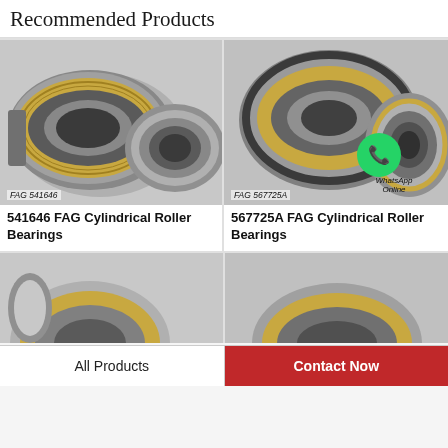Recommended Products
[Figure (photo): FAG 541646 cylindrical roller bearing, silver and gold tones, two bearings shown]
FAG 541646
541646 FAG Cylindrical Roller Bearings
[Figure (photo): FAG 567725A cylindrical roller bearing, silver and gold tones, with WhatsApp Online overlay]
FAG 567725A
567725A FAG Cylindrical Roller Bearings
[Figure (photo): Partial view of another FAG cylindrical roller bearing, bottom left]
[Figure (photo): Partial view of another FAG cylindrical roller bearing, bottom right]
All Products
Contact Now